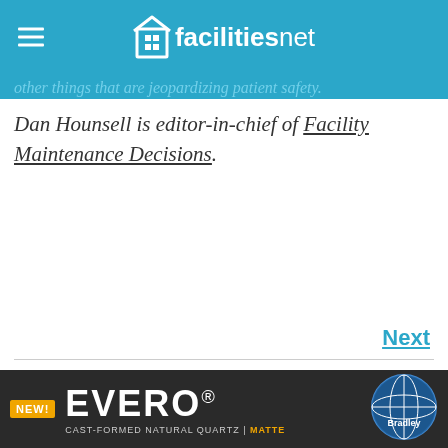facilitiesnet
other things that are jeopardizing patient safety.
Dan Hounsell is editor-in-chief of Facility Maintenance Decisions.
Next
[Figure (other): EVERO CAST-FORMED NATURAL QUARTZ | MATTE advertisement banner by Bradley]